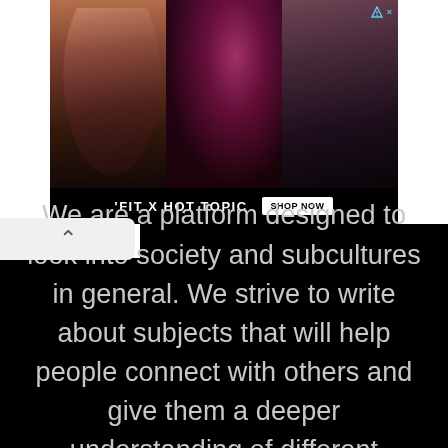[Figure (photo): Advertisement banner for 'FIT X HOT TOPIC' showing three musicians/performers in dark concert-style photos, with a 'SHOP NOW' button and a small ad badge icon in the top right.]
We are a platform designed to look into society and subcultures in general. We strive to write about subjects that will help people connect with others and give them a deeper understanding of different societies and cultures worldwide.